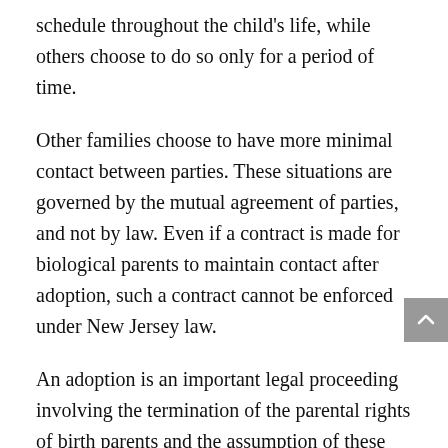schedule throughout the child's life, while others choose to do so only for a period of time.
Other families choose to have more minimal contact between parties. These situations are governed by the mutual agreement of parties, and not by law. Even if a contract is made for biological parents to maintain contact after adoption, such a contract cannot be enforced under New Jersey law.
An adoption is an important legal proceeding involving the termination of the parental rights of birth parents and the assumption of these rights by adoptive parents. It is important to understand the legal mechanics and adoption practices in New Jersey before adopting a child in New Jersey. Each state has